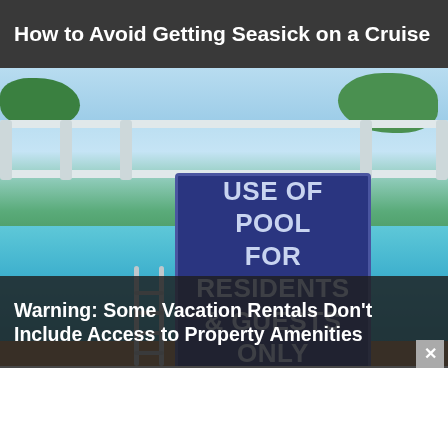How to Avoid Getting Seasick on a Cruise
[Figure (photo): Photo of a swimming pool area with a blue sign reading 'USE OF POOL FOR RESIDENTS & GUESTS ONLY', white fence railing, pool water, palm trees in background, and brick deck in foreground.]
Warning: Some Vacation Rentals Don't Include Access to Property Amenities